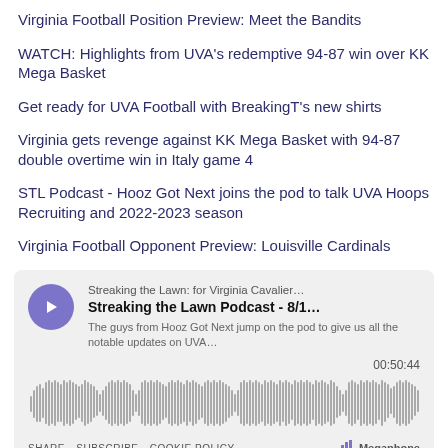Virginia Football Position Preview: Meet the Bandits
WATCH: Highlights from UVA's redemptive 94-87 win over KK Mega Basket
Get ready for UVA Football with BreakingT's new shirts
Virginia gets revenge against KK Mega Basket with 94-87 double overtime win in Italy game 4
STL Podcast - Hooz Got Next joins the pod to talk UVA Hoops Recruiting and 2022-2023 season
Virginia Football Opponent Preview: Louisville Cardinals
[Figure (other): Embedded podcast player widget for Streaking the Lawn Podcast - 8/1... with play button, waveform, duration 00:50:44, and footer with SHARE, SUBSCRIBE, COOKIE POLICY links and Megaphone logo]